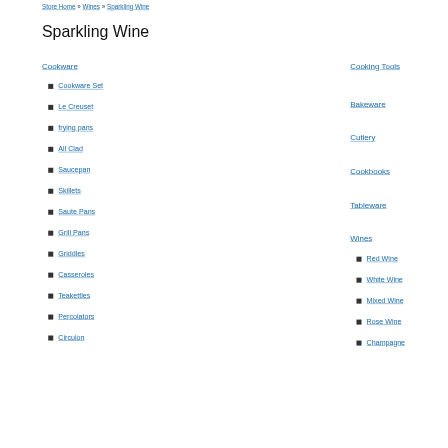Store Home » Wines » Sparkling Wine
Sparkling Wine
Cookware
Cookware Set
Le Creuset
frying pans
All Clad
Saucepan
Skillets
Saute Pans
Grill Pans
Griddles
Casseroles
Teakettles
Percolators
Circulon
Cooking Tools
Bakeware
Cutlery
Cookbooks
Tableware
Wines
Red Wine
White Wine
Mixed Wine
Rose Wine
Champagne